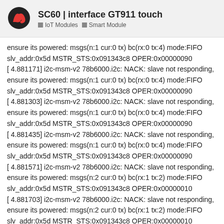SC60 | interface GT911 touch — IoT Modules — Smart Module
ensure its powered: msgs(n:1 cur:0 tx) bc(rx:0 tx:4) mode:FIFO slv_addr:0x5d MSTR_STS:0x091343c8 OPER:0x00000090
[ 4.881171] i2c-msm-v2 78b6000.i2c: NACK: slave not responding, ensure its powered: msgs(n:1 cur:0 tx) bc(rx:0 tx:4) mode:FIFO slv_addr:0x5d MSTR_STS:0x091343c8 OPER:0x00000090
[ 4.881303] i2c-msm-v2 78b6000.i2c: NACK: slave not responding, ensure its powered: msgs(n:1 cur:0 tx) bc(rx:0 tx:4) mode:FIFO slv_addr:0x5d MSTR_STS:0x091343c8 OPER:0x00000090
[ 4.881435] i2c-msm-v2 78b6000.i2c: NACK: slave not responding, ensure its powered: msgs(n:1 cur:0 tx) bc(rx:0 tx:4) mode:FIFO slv_addr:0x5d MSTR_STS:0x091343c8 OPER:0x00000090
[ 4.881571] i2c-msm-v2 78b6000.i2c: NACK: slave not responding, ensure its powered: msgs(n:2 cur:0 tx) bc(rx:1 tx:2) mode:FIFO slv_addr:0x5d MSTR_STS:0x091343c8 OPER:0x00000010
[ 4.881703] i2c-msm-v2 78b6000.i2c: NACK: slave not responding, ensure its powered: msgs(n:2 cur:0 tx) bc(rx:1 tx:2) mode:FIFO slv_addr:0x5d MSTR_STS:0x091343c8 OPER:0x00000010
[ 4.881835] i2c-msm-v2 78b6000.i2c: NACK: slave not responding, ensure its powered: msgs(n:2 cur:0 tx) bc(rx:1 tx:2) mode:FIFO slv_addr:0x5d MSTR_STS:0x091343c8 OPER: